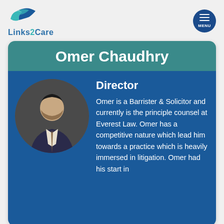[Figure (logo): Links2Care logo with two hands icon in teal/blue and text 'Links2Care' below]
Omer Chaudhry
[Figure (photo): Professional headshot of Omer Chaudhry, a man in a dark suit with arms crossed, circular crop]
Director
Omer is a Barrister & Solicitor and currently is the principle counsel at Everest Law. Omer has a competitive nature which lead him towards a practice which is heavily immersed in litigation. Omer had his start in